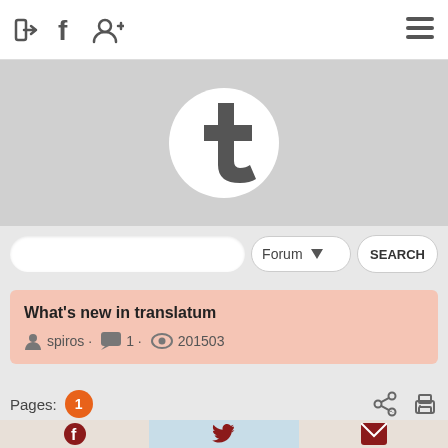Navigation header with login, Facebook, add user icons and hamburger menu
[Figure (logo): Tumblr-style 't' logo in dark gray on white circle, set against a light gray banner background]
Forum  SEARCH
What's new in translatum
spiros · 1 · 201503
Pages: 1
[Figure (infographic): Bottom bar with Facebook, Twitter, and mail share icons]